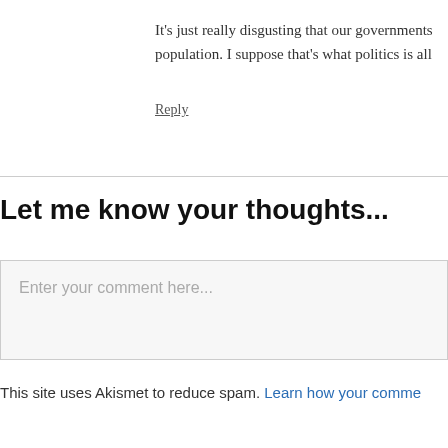It's just really disgusting that our governments population. I suppose that's what politics is all
Reply
Let me know your thoughts...
Enter your comment here...
This site uses Akismet to reduce spam. Learn how your comme...